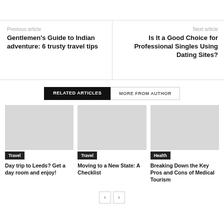Previous article
Gentlemen’s Guide to Indian adventure: 6 trusty travel tips
Next article
Is It a Good Choice for Professional Singles Using Dating Sites?
RELATED ARTICLES
MORE FROM AUTHOR
[Figure (photo): Travel article image placeholder]
Travel
Day trip to Leeds? Get a day room and enjoy!
[Figure (photo): Travel article image placeholder]
Travel
Moving to a New State: A Checklist
[Figure (photo): Health article image placeholder]
Health
Breaking Down the Key Pros and Cons of Medical Tourism